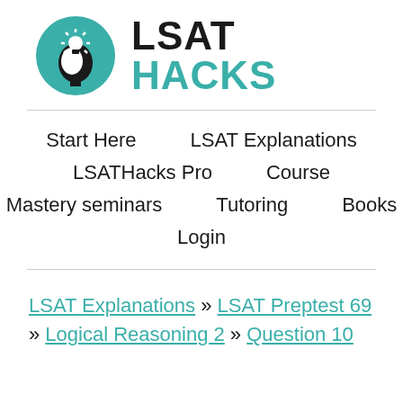[Figure (logo): LSAT Hacks logo: teal circle with silhouette of head with lightbulb, next to bold text LSAT HACKS where LSAT is black and HACKS is teal]
Start Here
LSAT Explanations
LSATHacks Pro
Course
Mastery seminars
Tutoring
Books
Login
LSAT Explanations » LSAT Preptest 69 » Logical Reasoning 2 » Question 10